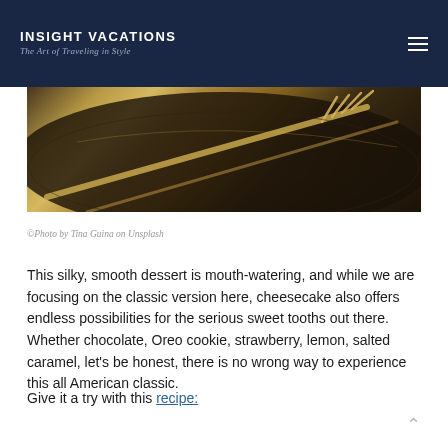INSIGHT VACATIONS
The Art of Traveling in Style
[Figure (photo): Close-up photo of a gold/brass fork resting on a dark plate, dramatic low-key lighting]
©Photo by Tina Guina on Unsplash
This silky, smooth dessert is mouth-watering, and while we are focusing on the classic version here, cheesecake also offers endless possibilities for the serious sweet tooths out there. Whether chocolate, Oreo cookie, strawberry, lemon, salted caramel, let's be honest, there is no wrong way to experience this all American classic.
Give it a try with this recipe: